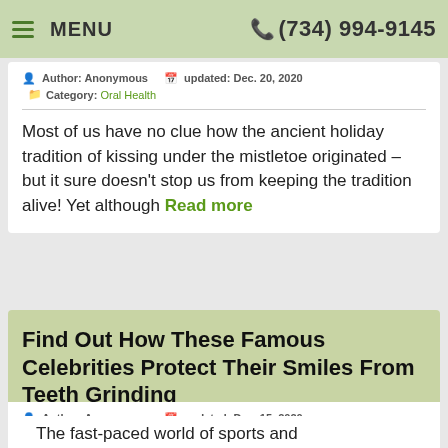MENU  (734) 994-9145
Author: Anonymous  updated: Dec. 20, 2020  Category: Oral Health
Most of us have no clue how the ancient holiday tradition of kissing under the mistletoe originated – but it sure doesn't stop us from keeping the tradition alive! Yet although Read more
Find Out How These Famous Celebrities Protect Their Smiles From Teeth Grinding
Author: Anonymous  updated: Dec. 15, 2020  Category: Oral Health
The fast-paced world of sports and